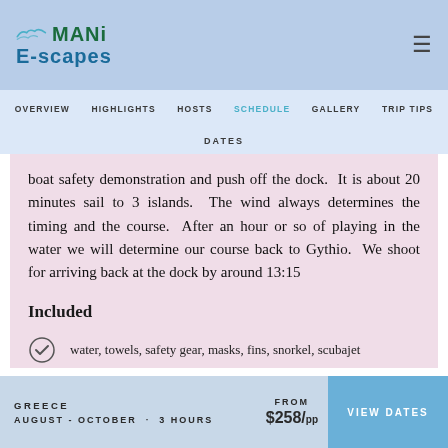[Figure (logo): MANi E-scapes logo with bird/waves graphic, teal and blue text]
OVERVIEW  HIGHLIGHTS  HOSTS  SCHEDULE  GALLERY  TRIP TIPS
DATES
boat safety demonstration and push off the dock.  It is about 20 minutes sail to 3 islands.  The wind always determines the timing and the course.  After an hour or so of playing in the water we will determine our course back to Gythio.  We shoot for arriving back at the dock by around 13:15
Included
water, towels, safety gear, masks, fins, snorkel, scubajet
SUP (stand up paddleboard)
GREECE  AUGUST - OCTOBER · 3 HOURS  FROM $258/pp  VIEW DATES